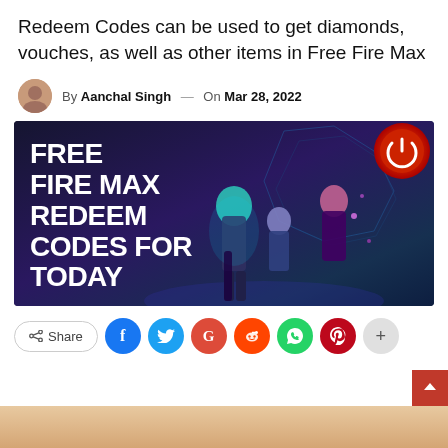Redeem Codes can be used to get diamonds, vouches, as well as other items in Free Fire Max
By Aanchal Singh — On Mar 28, 2022
[Figure (illustration): Free Fire Max promotional banner with bold white text reading FREE FIRE MAX REDEEM CODES FOR TODAY on a dark background with three game characters and a red power button badge in the top right corner]
Share buttons row: Share, Facebook, Twitter, Google+, Reddit, WhatsApp, Pinterest, plus more